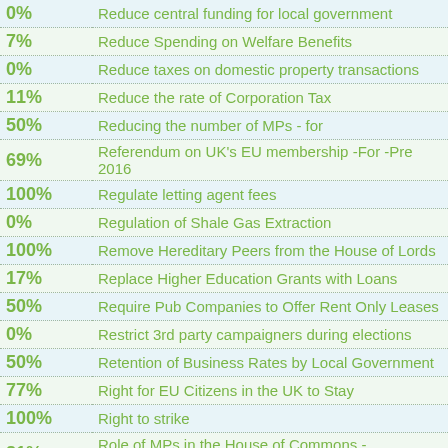| Percentage | Policy |
| --- | --- |
| 0% | Reduce central funding for local government |
| 7% | Reduce Spending on Welfare Benefits |
| 0% | Reduce taxes on domestic property transactions |
| 11% | Reduce the rate of Corporation Tax |
| 50% | Reducing the number of MPs - for |
| 69% | Referendum on UK's EU membership -For -Pre 2016 |
| 100% | Regulate letting agent fees |
| 0% | Regulation of Shale Gas Extraction |
| 100% | Remove Hereditary Peers from the House of Lords |
| 17% | Replace Higher Education Grants with Loans |
| 50% | Require Pub Companies to Offer Rent Only Leases |
| 0% | Restrict 3rd party campaigners during elections |
| 50% | Retention of Business Rates by Local Government |
| 77% | Right for EU Citizens in the UK to Stay |
| 100% | Right to strike |
| 81% | Role of MPs in the House of Commons - Strengthen |
| 100% | Same Sex Marriage - for |
| 98% | State control of bus services |